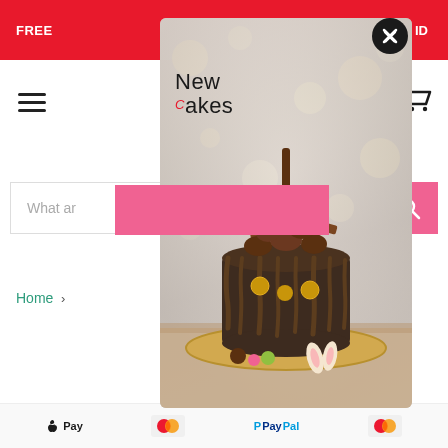FREE ... ID
[Figure (screenshot): NewCakes website screenshot showing a chocolate drip cake covered with assorted chocolates and Ferrero Rocher, displayed in a modal popup overlay. The modal has a close (X) button, and a pink redaction block covers part of the search area. The website shows a hamburger menu, cart icon, search bar, Home breadcrumb, and payment method icons (Apple Pay, Mastercard, PayPal) at the bottom.]